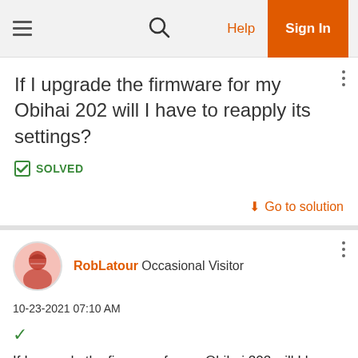Navigation bar with hamburger menu, search icon, Help link, Sign In button
If I upgrade the firmware for my Obihai 202 will I have to reapply its settings?
✅ SOLVED
↓ Go to solution
RobLatour Occasional Visitor
10-23-2021 07:10 AM
If I upgrade the firmware for my Obihai 202 will I have to reapply its settings?